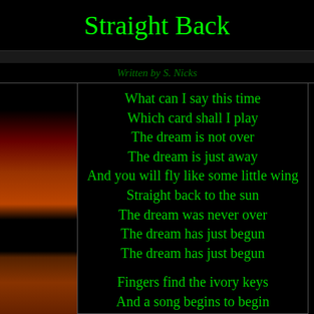Straight Back
Written by S. Nicks
What can I say this time
Which card shall I play
The dream is not over
The dream is just away
And you will fly like some little wing
Straight back to the sun
The dream was never over
The dream has just begun
The dream has just begun

Fingers find the ivory keys
And a song begins to begin
Like a wolf on the run